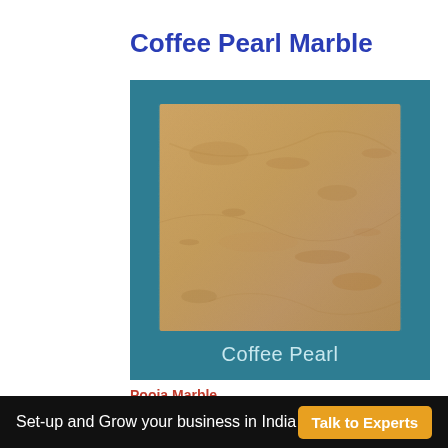Coffee Pearl Marble
[Figure (photo): Coffee Pearl marble slab sample — beige/tan surface with subtle natural veining and speckling, displayed on a dark teal background with the label 'Coffee Pearl' below the image.]
Pooja Marble
Looking to setup or expand your business in India?
Set-up and Grow your business in India   Talk to Experts